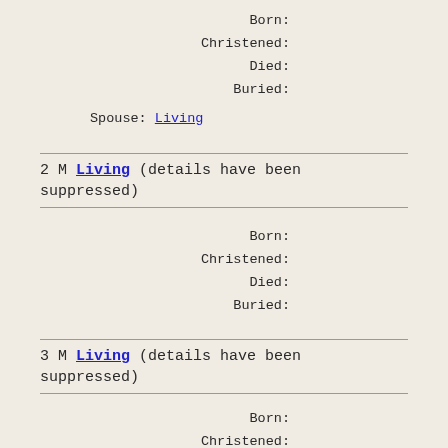Born:
Christened:
Died:
Buried:
Spouse: Living
2 M Living (details have been suppressed)
Born:
Christened:
Died:
Buried:
3 M Living (details have been suppressed)
Born:
Christened:
Died:
Buried: